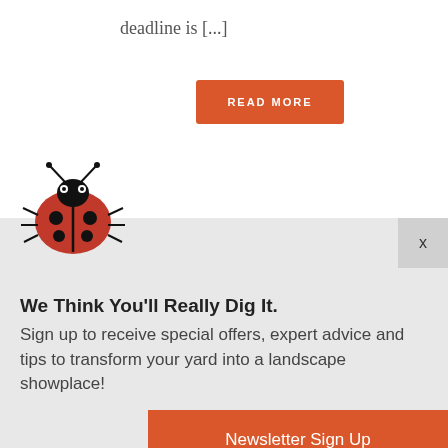deadline is [...]
READ MORE
[Figure (illustration): Ladybug illustration on white/grey background]
x
We Think You'll Really Dig It.
Sign up to receive special offers, expert advice and tips to transform your yard into a landscape showplace!
Newsletter Sign Up